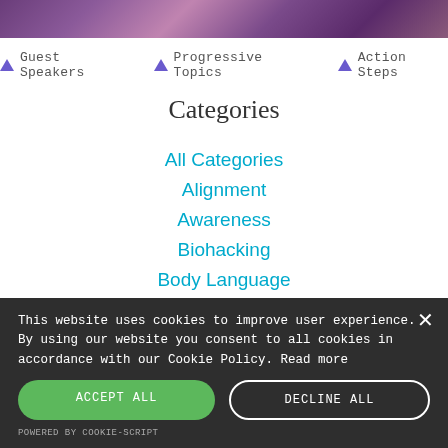[Figure (photo): Purple/mauve textured banner image at top of page]
▲ Guest Speakers
▲ Progressive Topics
▲ Action Steps
Categories
All Categories
Alignment
Awareness
Biohacking
Body Language
Body Mechanics
This website uses cookies to improve user experience. By using our website you consent to all cookies in accordance with our Cookie Policy. Read more
ACCEPT ALL
DECLINE ALL
POWERED BY COOKIE-SCRIPT